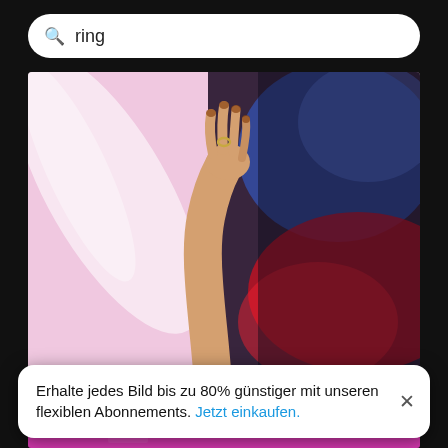ring
[Figure (photo): Cropped image of a woman with hand raised against a colorful textile background with pink, red, blue and black colors. A ring is visible on one finger.]
Cropped image of woman with hand raised against textile
[Figure (photo): Partial view of a second image with bright pink/magenta background, partially cut off at bottom of page.]
Erhalte jedes Bild bis zu 80% günstiger mit unseren flexiblen Abonnements. Jetzt einkaufen.